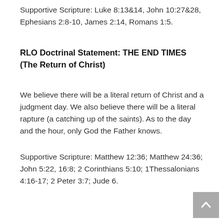Supportive Scripture: Luke 8:13&14, John 10:27&28, Ephesians 2:8-10, James 2:14, Romans 1:5.
RLO Doctrinal Statement: THE END TIMES (The Return of Christ)
We believe there will be a literal return of Christ and a judgment day. We also believe there will be a literal rapture (a catching up of the saints). As to the day and the hour, only God the Father knows.
Supportive Scripture: Matthew 12:36; Matthew 24:36; John 5:22, 16:8; 2 Corinthians 5:10; 1Thessalonians 4:16-17; 2 Peter 3:7; Jude 6.